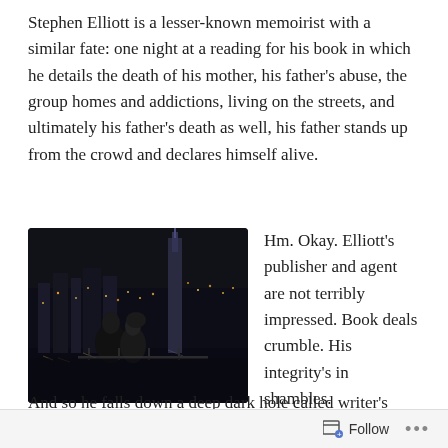Stephen Elliott is a lesser-known memoirist with a similar fate: one night at a reading for his book in which he details the death of his mother, his father's abuse, the group homes and addictions, living on the streets, and ultimately his father's death as well, his father stands up from the crowd and declares himself alive.
[Figure (photo): A dark nighttime photo of a couple (man and woman) facing each other closely, with a city skyline and illuminated skyscraper in the background, taken by a waterfront.]
Hm. Okay. Elliott's publisher and agent are not terribly impressed. Book deals crumble. His integrity's in shambles. And so he falls down a deep dark hole called writer's block.
Follow ...